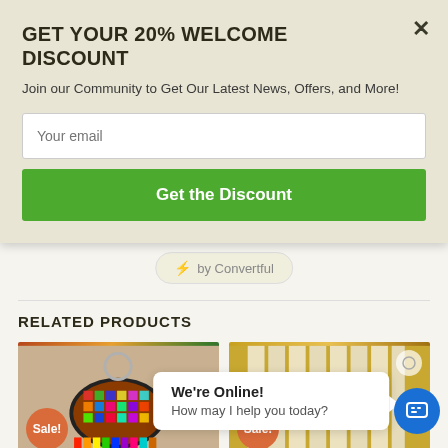GET YOUR 20% WELCOME DISCOUNT
Join our Community to Get Our Latest News, Offers, and More!
Your email
Get the Discount
⚡ by Convertful
RELATED PRODUCTS
[Figure (photo): Product photo showing a colorful keychain with mosaic pattern, with Sale badge]
[Figure (photo): Product photo showing blotter paper strips labeled 1P-LSD, with Sale badge]
We're Online!
How may I help you today?